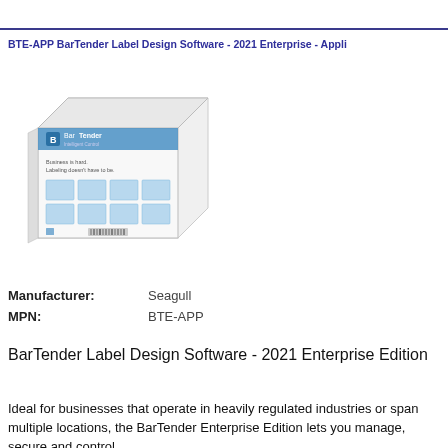BTE-APP BarTender Label Design Software - 2021 Enterprise - Appli…
[Figure (photo): BarTender software product box with teal/white label design graphics on the cover]
| Manufacturer: | Seagull |
| MPN: | BTE-APP |
BarTender Label Design Software - 2021 Enterprise Edition
Ideal for businesses that operate in heavily regulated industries or span multiple locations, the BarTender Enterprise Edition lets you manage, secure and control